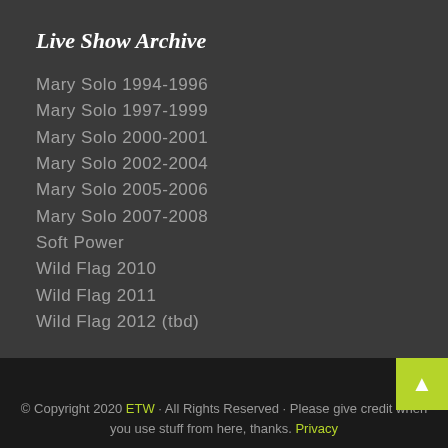Live Show Archive
Mary Solo 1994-1996
Mary Solo 1997-1999
Mary Solo 2000-2001
Mary Solo 2002-2004
Mary Solo 2005-2006
Mary Solo 2007-2008
Soft Power
Wild Flag 2010
Wild Flag 2011
Wild Flag 2012 (tbd)
© Copyright 2020 ETW · All Rights Reserved · Please give credit when you use stuff from here, thanks. Privacy